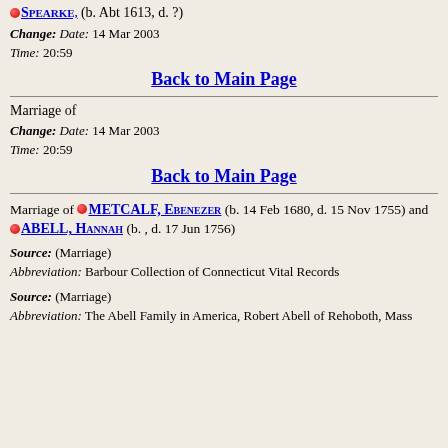SPEARKE, (b. Abt 1613, d. ?)
Change: Date: 14 Mar 2003 Time: 20:59
Back to Main Page
Marriage of
Change: Date: 14 Mar 2003 Time: 20:59
Back to Main Page
Marriage of METCALF, Ebenezer (b. 14 Feb 1680, d. 15 Nov 1755) and ABELL, Hannah (b. , d. 17 Jun 1756)
Source: (Marriage) Abbreviation: Barbour Collection of Connecticut Vital Records
Source: (Marriage) Abbreviation: The Abell Family in America, Robert Abell of Rehoboth, Mass